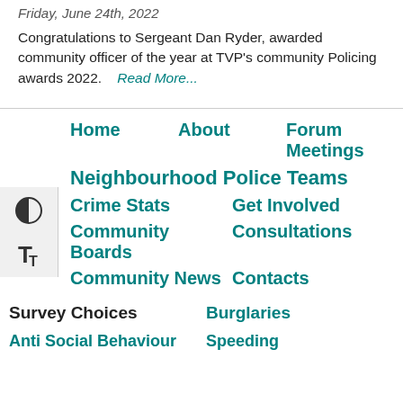Friday, June 24th, 2022
Congratulations to Sergeant Dan Ryder, awarded community officer of the year at TVP's community Policing awards 2022.   Read More...
Home
About
Forum Meetings
Neighbourhood Police Teams
Crime Stats
Get Involved
Community Boards
Consultations
Community News
Contacts
Survey Choices
Burglaries
Anti Social Behaviour
Speeding